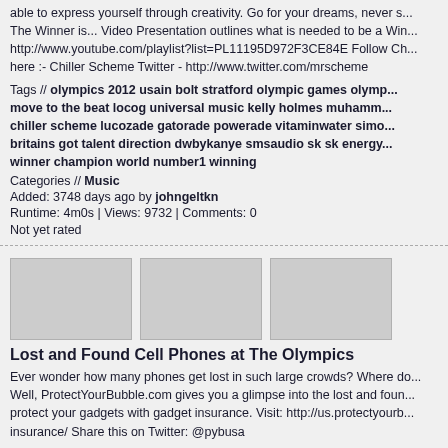able to express yourself through creativity. Go for your dreams, never stop... The Winner is... Video Presentation outlines what is needed to be a Win... http://www.youtube.com/playlist?list=PL11195D972F3CE84E Follow Ch... here :- Chiller Scheme Twitter - http://www.twitter.com/mrscheme
Tags // olympics 2012 usain bolt stratford olympic games olymp... move to the beat locog universal music kelly holmes muhamm... chiller scheme lucozade gatorade powerade vitaminwater simo... britains got talent direction dwbykanye smsaudio sk sk energy... winner champion world number1 winning
Categories // Music
Added: 3748 days ago by johngeltkn
Runtime: 4m0s | Views: 9732 | Comments: 0
Not yet rated
[Figure (photo): Three video thumbnails side by side (gray placeholder images)]
Lost and Found Cell Phones at The Olympics
Ever wonder how many phones get lost in such large crowds? Where do they go? Well, ProtectYourBubble.com gives you a glimpse into the lost and found... protect your gadgets with gadget insurance. Visit: http://us.protectyourb... insurance/ Share this on Twitter: @pybusa
Tags // mobile phone insurance cell phone gadgetinsurance iph... insurance protect your bubbleprotect your bubble usa lost an... olympics lost my phoneinsurance
Categories // Miscellaneous